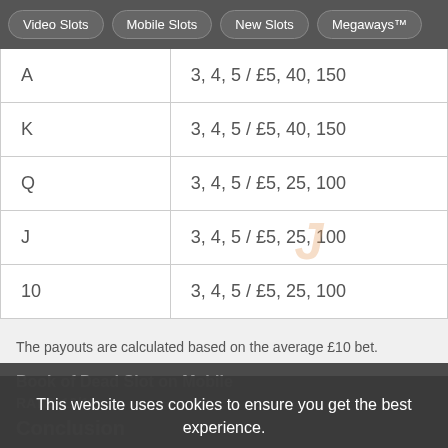Video Slots | Mobile Slots | New Slots | Megaways™
| Symbol | Pays (match / amount) |
| --- | --- |
| A | 3, 4, 5 / £5, 40, 150 |
| K | 3, 4, 5 / £5, 40, 150 |
| Q | 3, 4, 5 / £5, 25, 100 |
| J | 3, 4, 5 / £5, 25, 100 |
| 10 | 3, 4, 5 / £5, 25, 100 |
The payouts are calculated based on the average £10 bet.
Book of Dead Slot on Mobile
RATE: 10/10
Conclusion
This website uses cookies to ensure you get the best experience.